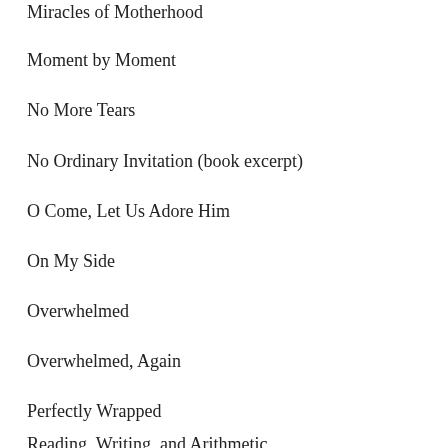Miracles of Motherhood
Moment by Moment
No More Tears
No Ordinary Invitation (book excerpt)
O Come, Let Us Adore Him
On My Side
Overwhelmed
Overwhelmed, Again
Perfectly Wrapped
Reading, Writing, and Arithmetic
Repurposed Lives